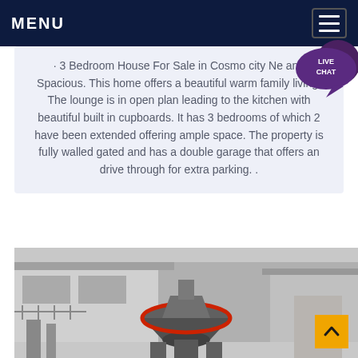MENU
· 3 Bedroom House For Sale in Cosmo city Ne and Spacious. This home offers a beautiful warm family living. The lounge is in open plan leading to the kitchen with beautiful built in cupboards. It has 3 bedrooms of which 2 have been extended offering ample space. The property is fully walled gated and has a double garage that offers an drive through for extra parking. .
[Figure (photo): Industrial building exterior with large metal machinery/equipment in the foreground]